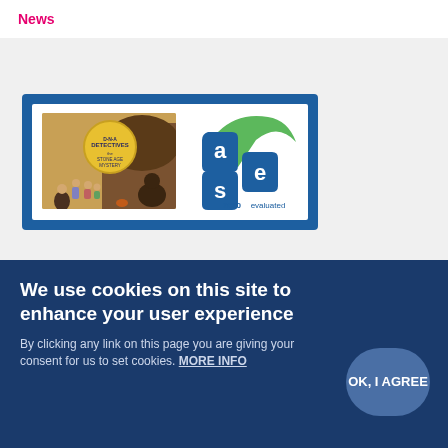News
[Figure (illustration): Book cover of 'DNA Detectives: The Stone Age Mystery' alongside the ASE 2020 evaluated green tick logo, inside a blue-bordered card]
Green Tick: The DNA Detectives – The Stone Age Mystery by Amanda Hartley
We use cookies on this site to enhance your user experience
By clicking any link on this page you are giving your consent for us to set cookies. MORE INFO